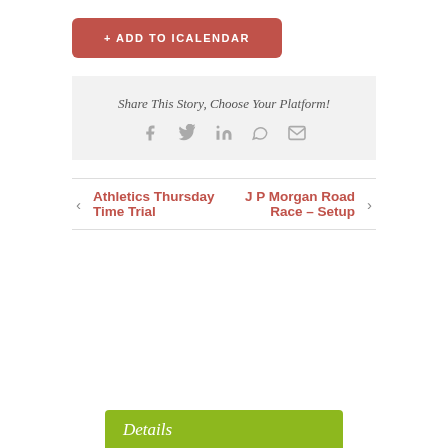+ ADD TO ICALENDAR
Share This Story, Choose Your Platform!
[Figure (infographic): Social share icons: Facebook, Twitter, LinkedIn, WhatsApp, Email]
Athletics Thursday Time Trial
J P Morgan Road Race – Setup
Details